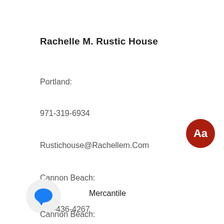Rachelle M. Rustic House
Portland:
971-319-6934
Rustichouse@Rachellem.Com
Cannon Beach:
503-436-4267
CB@RachelleM.Com
[Figure (illustration): Red circular badge with white text 'Aa']
Mercantile
[Figure (illustration): White circle with blue speech bubble / chat icon]
Cannon Beach: